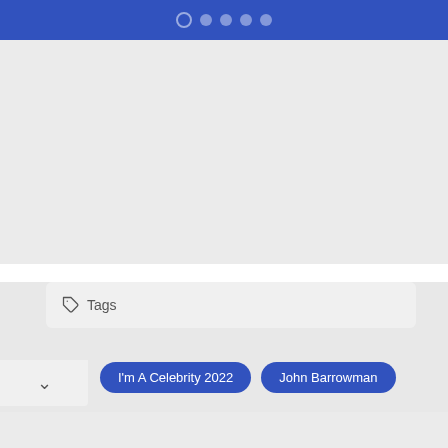[Figure (screenshot): Blue top navigation bar with pagination dots (one outlined/active, four filled gray)]
[Figure (screenshot): Light gray main content area]
Tags
I'm A Celebrity 2022
John Barrowman